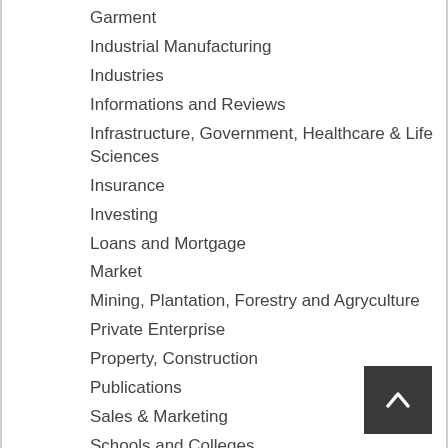Garment
Industrial Manufacturing
Industries
Informations and Reviews
Infrastructure, Government, Healthcare & Life Sciences
Insurance
Investing
Loans and Mortgage
Market
Mining, Plantation, Forestry and Agryculture
Private Enterprise
Property, Construction
Publications
Sales & Marketing
Schools and Colleges
Society
Software Development
Spa, Beauty and Hair Salon
Staffing & HR